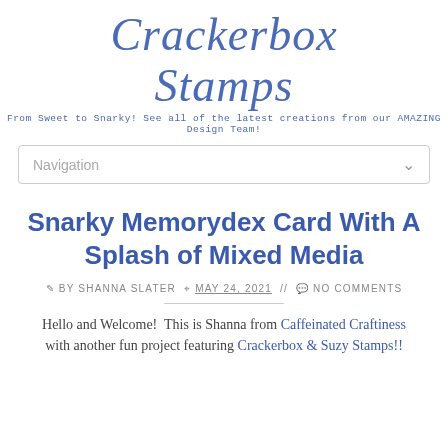Crackerbox Stamps
From Sweet to Snarky! See all of the latest creations from our AMAZING Design Team!
Navigation
Snarky Memorydex Card With A Splash of Mixed Media
BY SHANNA SLATER  MAY 24, 2021 //  NO COMMENTS
Hello and Welcome!  This is Shanna from Caffeinated Craftiness with another fun project featuring Crackerbox & Suzy Stamps!!